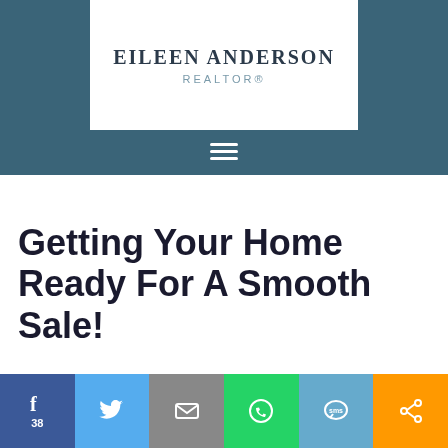EILEEN ANDERSON REALTOR®
[Figure (screenshot): Website screenshot showing Eileen Anderson Realtor logo on teal/blue header with hamburger menu icon]
Getting Your Home Ready For A Smooth Sale!
[Figure (screenshot): Bottom navigation social share bar with Facebook (38 shares), Twitter, Email, WhatsApp, SMS, and share icons]